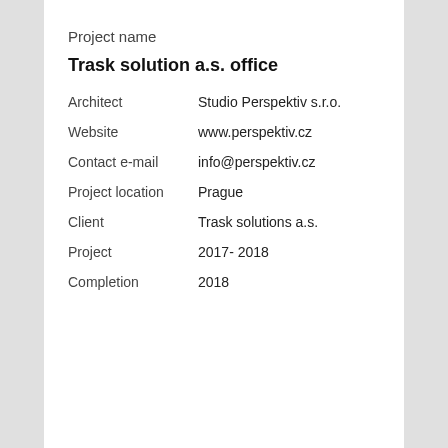Project name
Trask solution a.s. office
Architect   Studio Perspektiv s.r.o.
Website   www.perspektiv.cz
Contact e-mail   info@perspektiv.cz
Project location   Prague
Client   Trask solutions a.s.
Project   2017- 2018
Completion   2018